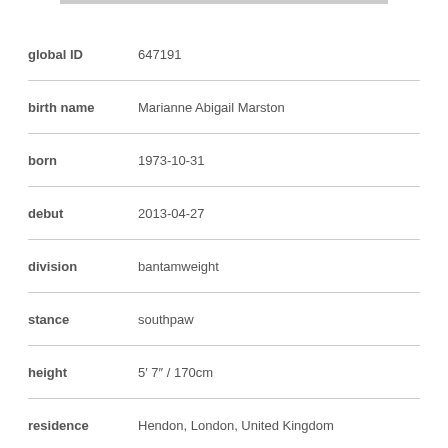| Field | Value |
| --- | --- |
| global ID | 647191 |
| birth name | Marianne Abigail Marston |
| born | 1973-10-31 |
| debut | 2013-04-27 |
| division | bantamweight |
| stance | southpaw |
| height | 5′ 7″  /   170cm |
| residence | Hendon, London, United Kingdom |
| birth place | Costessey, Norfolk, United Kingdom |